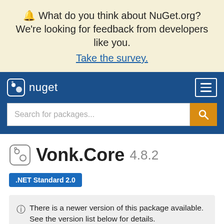🔔 What do you think about NuGet.org? We're looking for feedback from developers like you. Take the survey.
[Figure (screenshot): NuGet.org navigation bar with logo and hamburger menu button]
Search for packages...
Vonk.Core 4.8.2
.NET Standard 2.0
ⓘ There is a newer version of this package available. See the version list below for details.